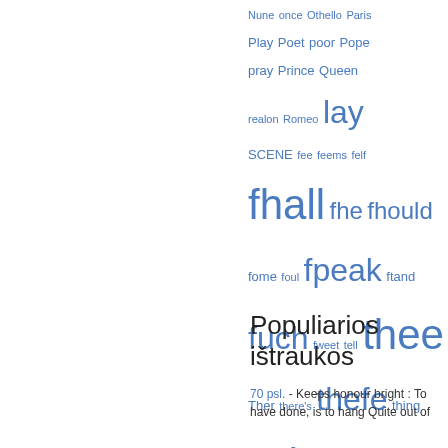[Figure (other): Tag cloud of words in blue, varying font sizes indicating frequency: Nune, once, Othello, Paris, Play, Poet, poor, Pope, pray, Prince, Queen, realon, Romeo, lay, SCENE, fee, feems, felf, fhall, fhe, fhould, fome, foul, fpeak, ftand, fuch, fweet, tell, thee, Ther, there's, thefe, thing, thofe, thou, thought, Troi, Troilus, true, ufe, whole, wife, young]
Populiarios ištraukos
70 psl. - Keeps honour bright : To have done, is to hang Quite out of